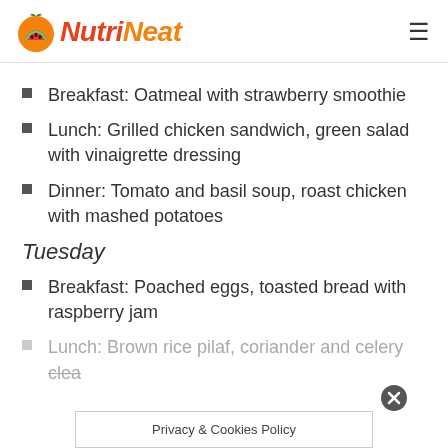NutriNeat
Breakfast: Oatmeal with strawberry smoothie
Lunch: Grilled chicken sandwich, green salad with vinaigrette dressing
Dinner: Tomato and basil soup, roast chicken with mashed potatoes
Tuesday
Breakfast: Poached eggs, toasted bread with raspberry jam
Lunch: Brown rice pilaf, coriander and celery clear...
Privacy & Cookies Policy